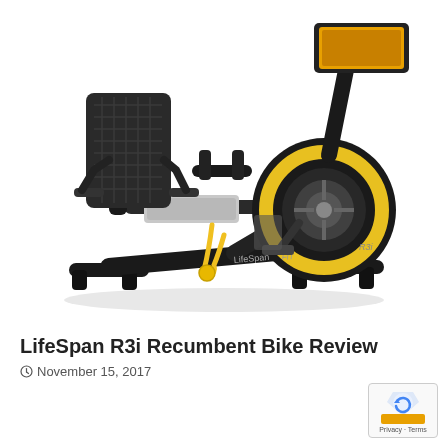[Figure (photo): LifeSpan R3i Recumbent Exercise Bike product photo on white background. Black recumbent bike with a mesh-back chair seat, yellow resistance band attachment, large flywheel with yellow ring, and a console/display at top right. LifeSpan Fit branding visible on the frame.]
LifeSpan R3i Recumbent Bike Review
November 15, 2017